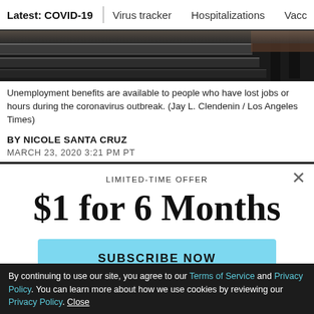Latest: COVID-19 | Virus tracker | Hospitalizations | Vacci
[Figure (photo): Dark photo strip showing escalator rails and legs of a person, representing people affected by unemployment during the coronavirus outbreak.]
Unemployment benefits are available to people who have lost jobs or hours during the coronavirus outbreak. (Jay L. Clendenin / Los Angeles Times)
BY NICOLE SANTA CRUZ
MARCH 23, 2020 3:21 PM PT
LIMITED-TIME OFFER
$1 for 6 Months
SUBSCRIBE NOW
By continuing to use our site, you agree to our Terms of Service and Privacy Policy. You can learn more about how we use cookies by reviewing our Privacy Policy. Close